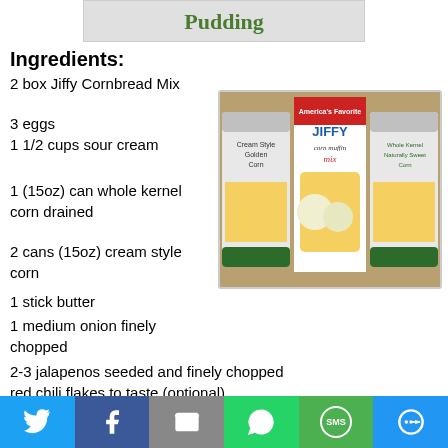[Figure (photo): Partial image at top showing 'Pudding' text in green on a recipe banner]
Ingredients:
2 box Jiffy Cornbread Mix
3 eggs
1 1/2 cups sour cream
1 (15oz) can whole kernel corn drained
2 cans (15oz) cream style corn
1 stick butter
1 medium onion finely chopped
[Figure (photo): Photo of Jiffy corn muffin mix box flanked by two cans of corn (Cream Style Golden Corn and Whole Kernel Naturally Sweet Corn) on a granite countertop]
2-3 jalapenos seeded and finely chopped
red chili flakes to taste (optional)
1 tsp granulated garlic powder
2 cups cheddar cheese (divided)
Twitter | Facebook | Email | WhatsApp | SMS | More